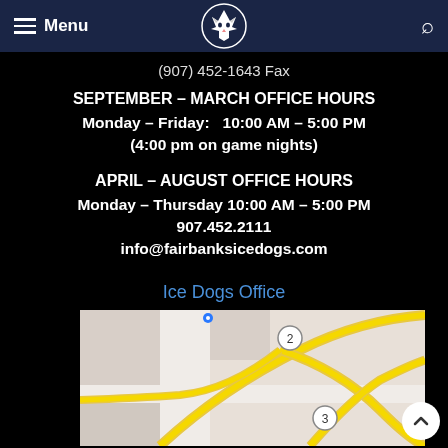Menu | [logo] | [search]
(907) 452-1643 Fax
SEPTEMBER – MARCH OFFICE HOURS
Monday – Friday:   10:00 AM – 5:00 PM
(4:00 pm on game nights)
APRIL – AUGUST OFFICE HOURS
Monday – Thursday 10:00 AM – 5:00 PM
907.452.2111
info@fairbanksicedogs.com
Ice Dogs Office
[Figure (map): Street map showing Ice Dogs Office location near a highway interchange with route markers 2 and 3.]